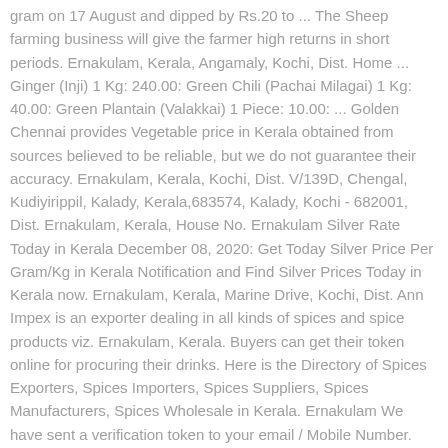gram on 17 August and dipped by Rs.20 to ... The Sheep farming business will give the farmer high returns in short periods. Ernakulam, Kerala, Angamaly, Kochi, Dist. Home ... Ginger (Inji) 1 Kg: 240.00: Green Chili (Pachai Milagai) 1 Kg: 40.00: Green Plantain (Valakkai) 1 Piece: 10.00: ... Golden Chennai provides Vegetable price in Kerala obtained from sources believed to be reliable, but we do not guarantee their accuracy. Ernakulam, Kerala, Kochi, Dist. V/139D, Chengal, Kudiyirippil, Kalady, Kerala,683574, Kalady, Kochi - 682001, Dist. Ernakulam, Kerala, House No. Ernakulam Silver Rate Today in Kerala December 08, 2020: Get Today Silver Price Per Gram/Kg in Kerala Notification and Find Silver Prices Today in Kerala now. Ernakulam, Kerala, Marine Drive, Kochi, Dist. Ann Impex is an exporter dealing in all kinds of spices and spice products viz. Ernakulam, Kerala. Buyers can get their token online for procuring their drinks. Here is the Directory of Spices Exporters, Spices Importers, Spices Suppliers, Spices Manufacturers, Spices Wholesale in Kerala. Ernakulam We have sent a verification token to your email / Mobile Number. Please